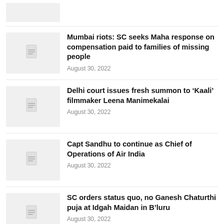[Figure (other): Thumbnail placeholder image for first news item (partial, top of page)]
Mumbai riots: SC seeks Maha response on compensation paid to families of missing people
August 30, 2022
Delhi court issues fresh summon to ‘Kaali’ filmmaker Leena Manimekalai
August 30, 2022
Capt Sandhu to continue as Chief of Operations of Air India
August 30, 2022
SC orders status quo, no Ganesh Chaturthi puja at Idgah Maidan in B’luru
August 30, 2022